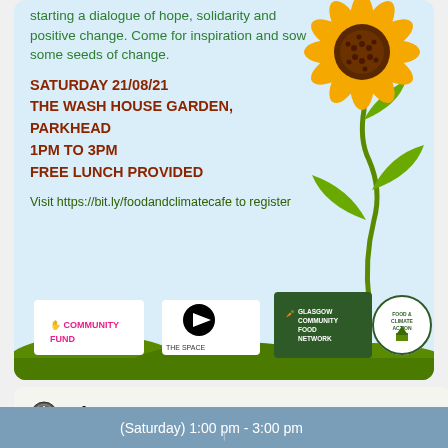starting a dialogue of hope, solidarity and positive change. Come for inspiration and sow some seeds of change.
SATURDAY 21/08/21
THE WASH HOUSE GARDEN, PARKHEAD
1PM TO 3PM
FREE LUNCH PROVIDED
Visit https://bit.ly/foodandclimatecafe to register
[Figure (illustration): Sunflower illustration with stem and leaves on the right side of the card]
[Figure (illustration): Green ground with four sponsor logos: Community Fund (National Lottery), The Space, Glasgow Community Food Network, Food & Climate Action]
Time
(Saturday) 1:00 pm - 3:00 pm